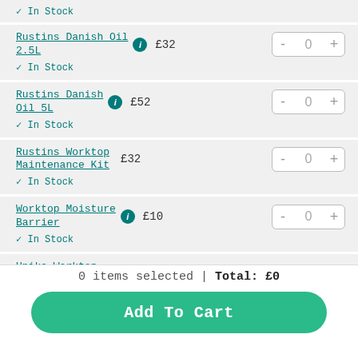✓ In Stock
Rustins Danish Oil 2.5L £32 - 0 + ✓ In Stock
Rustins Danish Oil 5L £52 - 0 + ✓ In Stock
Rustins Worktop Maintenance Kit £32 - 0 + ✓ In Stock
Worktop Moisture Barrier £10 - 0 + ✓ In Stock
Unika Worktop Installation Kit - Single Joint £18 - 0 +
0 items selected | Total: £0
Add To Cart